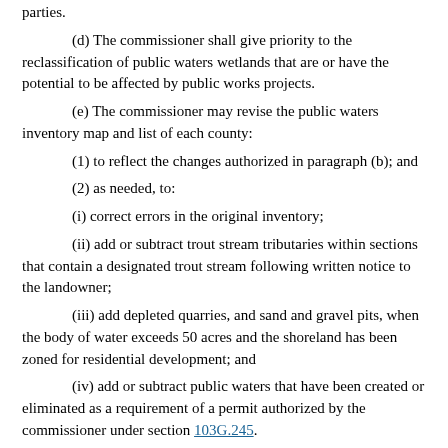parties.
(d) The commissioner shall give priority to the reclassification of public waters wetlands that are or have the potential to be affected by public works projects.
(e) The commissioner may revise the public waters inventory map and list of each county:
(1) to reflect the changes authorized in paragraph (b); and
(2) as needed, to:
(i) correct errors in the original inventory;
(ii) add or subtract trout stream tributaries within sections that contain a designated trout stream following written notice to the landowner;
(iii) add depleted quarries, and sand and gravel pits, when the body of water exceeds 50 acres and the shoreland has been zoned for residential development; and
(iv) add or subtract public waters that have been created or eliminated as a requirement of a permit authorized by the commissioner under section 103G.245.